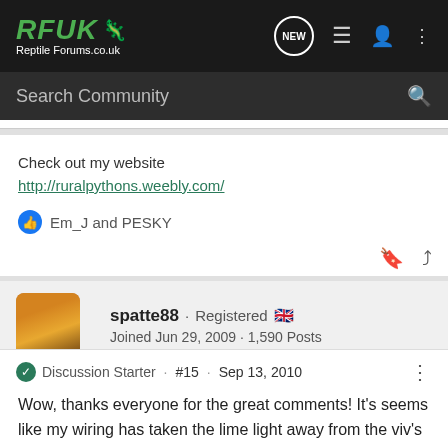RFUK Reptile Forums.co.uk — Navigation bar with search
Check out my website
http://ruralpythons.weebly.com/
Em_J and PESKY
spatte88 · Registered 🇬🇧
Joined Jun 29, 2009 · 1,590 Posts
Discussion Starter · #15 · Sep 13, 2010
Wow, thanks everyone for the great comments! It's seems like my wiring has taken the lime light away from the viv's though! Lol.